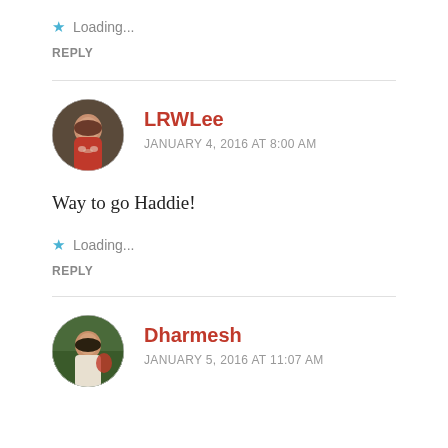★ Loading...
REPLY
[Figure (photo): Circular avatar of LRWLee, a woman in a red top with pearls, outdoors]
LRWLee
JANUARY 4, 2016 AT 8:00 AM
Way to go Haddie!
★ Loading...
REPLY
[Figure (photo): Circular avatar of Dharmesh, a man smiling outdoors]
Dharmesh
JANUARY 5, 2016 AT 11:07 AM